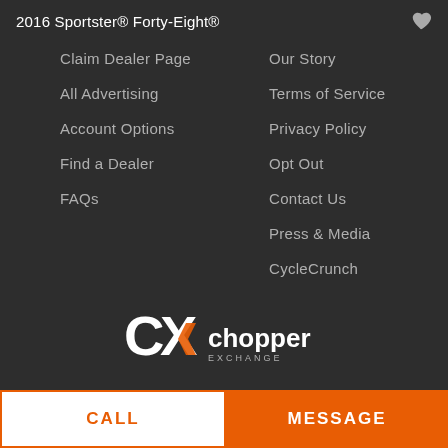2016 Sportster® Forty-Eight®
Claim Dealer Page
All Advertising
Account Options
Find a Dealer
FAQs
Our Story
Terms of Service
Privacy Policy
Opt Out
Contact Us
Press & Media
CycleCrunch
[Figure (logo): CX Chopper Exchange logo — white and orange letters on dark background]
CALL
MESSAGE